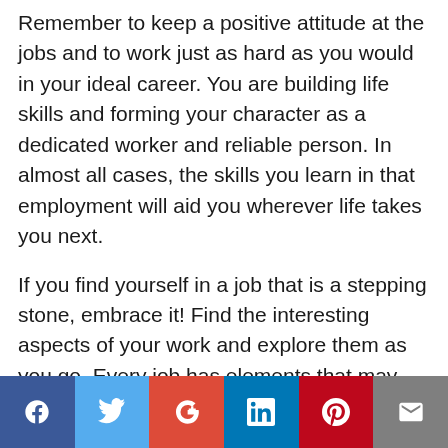Remember to keep a positive attitude at the jobs and to work just as hard as you would in your ideal career. You are building life skills and forming your character as a dedicated worker and reliable person. In almost all cases, the skills you learn in that employment will aid you wherever life takes you next.
If you find yourself in a job that is a stepping stone, embrace it! Find the interesting aspects of your work and explore them as you go. Every job has elements that may not fit your personality well, but how you choose to approach those more difficult tasks will determine your success.
[Figure (infographic): Social media sharing bar with icons for Facebook, Twitter, Google+, LinkedIn, Pinterest, and email (envelope)]